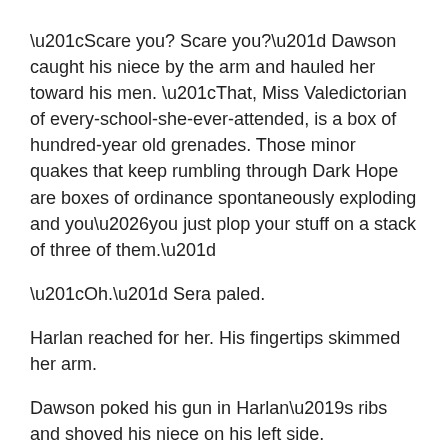“Scare you? Scare you?” Dawson caught his niece by the arm and hauled her toward his men. “That, Miss Valedictorian of every-school-she-ever-attended, is a box of hundred-year old grenades. Those minor quakes that keep rumbling through Dark Hope are boxes of ordinance spontaneously exploding and you…you just plop your stuff on a stack of three of them.”
“Oh.” Sera paled.
Harlan reached for her. His fingertips skimmed her arm.
Dawson poked his gun in Harlan’s ribs and shoved his niece on his left side. “Keep your hands up. I still haven’t made up my mind to shoot you or not.”
Maybe if the two of them were alone, Harlan might believe